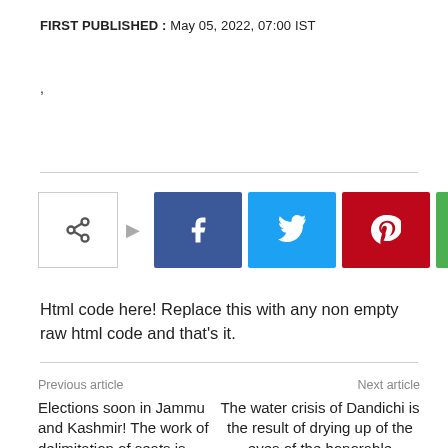FIRST PUBLISHED : May 05, 2022, 07:00 IST
,
[Figure (other): Social share buttons: share icon box, Facebook, Twitter, Pinterest, WhatsApp]
Html code here! Replace this with any non empty raw html code and that's it.
Previous article
Elections soon in Jammu and Kashmir! The work of delimitation of seats is
Next article
The water crisis of Dandichi is the result of drying up of the eyes of the honorable